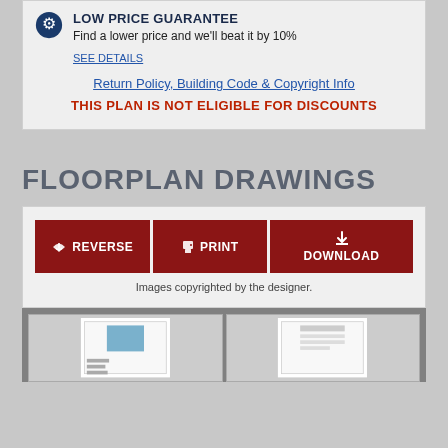LOW PRICE GUARANTEE
Find a lower price and we'll beat it by 10%
SEE DETAILS
Return Policy, Building Code & Copyright Info
THIS PLAN IS NOT ELIGIBLE FOR DISCOUNTS
FLOORPLAN DRAWINGS
REVERSE
PRINT
DOWNLOAD
Images copyrighted by the designer.
[Figure (photo): Two floorplan drawing thumbnails partially visible at bottom of page]